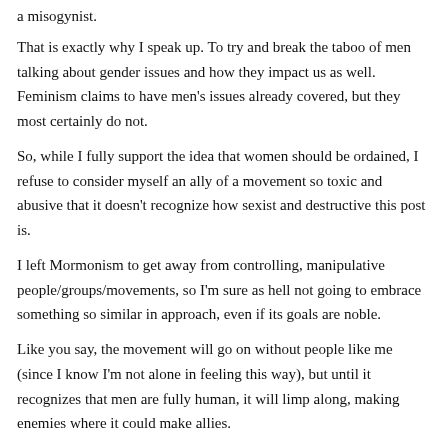a misogynist.
That is exactly why I speak up. To try and break the taboo of men talking about gender issues and how they impact us as well. Feminism claims to have men's issues already covered, but they most certainly do not.
So, while I fully support the idea that women should be ordained, I refuse to consider myself an ally of a movement so toxic and abusive that it doesn't recognize how sexist and destructive this post is.
I left Mormonism to get away from controlling, manipulative people/groups/movements, so I'm sure as hell not going to embrace something so similar in approach, even if its goals are noble.
Like you say, the movement will go on without people like me (since I know I'm not alone in feeling this way), but until it recognizes that men are fully human, it will limp along, making enemies where it could make allies.